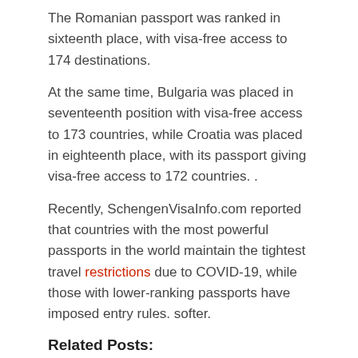The Romanian passport was ranked in sixteenth place, with visa-free access to 174 destinations.
At the same time, Bulgaria was placed in seventeenth position with visa-free access to 173 countries, while Croatia was placed in eighteenth place, with its passport giving visa-free access to 172 countries. .
Recently, SchengenVisaInfo.com reported that countries with the most powerful passports in the world maintain the tightest travel restrictions due to COVID-19, while those with lower-ranking passports have imposed entry rules. softer.
Related Posts:
Restaurant Sobrino De Botín in Madrid, Spain: review and photos
The King and Queen of Spain inaugurate Fitur 2022 today
IHG signs 11 properties across Spain and Portugal